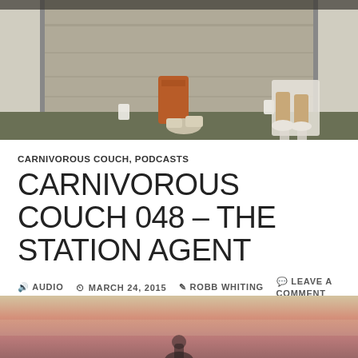[Figure (photo): Two people sitting on a porch/steps, casual outdoor setting, wooden wall background, cups visible]
CARNIVOROUS COUCH, PODCASTS
CARNIVOROUS COUCH 048 – THE STATION AGENT
🔊 AUDIO   🕐 MARCH 24, 2015   👤 ROBB WHITING   💬 LEAVE A COMMENT
The Station Agent
[Figure (photo): Bottom partial photo showing a sunset/dusk sky with warm pink and orange tones, partial silhouette of a figure visible at bottom center]